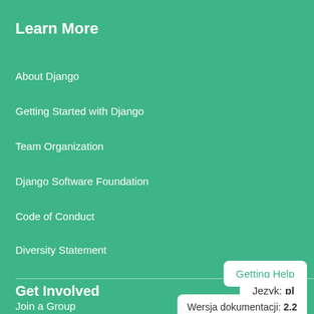Learn More
About Django
Getting Started with Django
Team Organization
Django Software Foundation
Code of Conduct
Diversity Statement
Getting Help
Get Involved
Język: pl
Join a Group
Wersja dokumentacji: 2.2
Contribute to Django